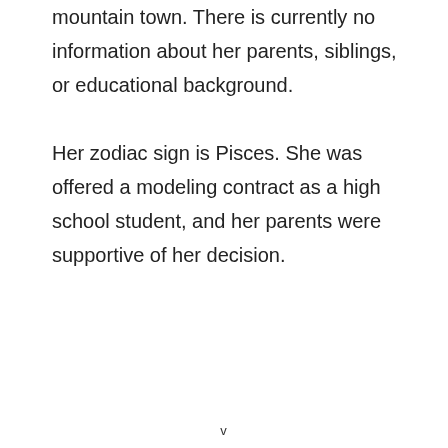mountain town. There is currently no information about her parents, siblings, or educational background.

Her zodiac sign is Pisces. She was offered a modeling contract as a high school student, and her parents were supportive of her decision.
v